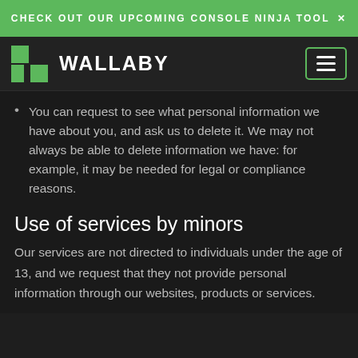CHECK OUT OUR UPCOMING CONSOLE NINJA TOOL ×
WALLABY
You can request to see what personal information we have about you, and ask us to delete it. We may not always be able to delete information we have: for example, it may be needed for legal or compliance reasons.
Use of services by minors
Our services are not directed to individuals under the age of 13, and we request that they not provide personal information through our websites, products or services.